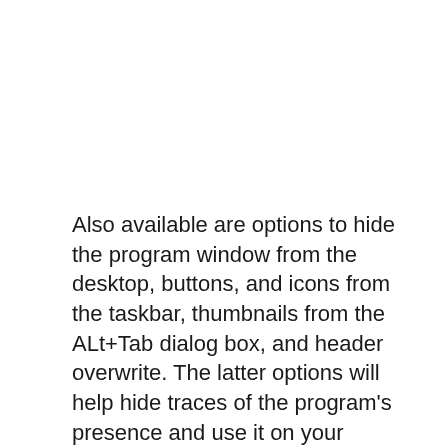Also available are options to hide the program window from the desktop, buttons, and icons from the taskbar, thumbnails from the ALt+Tab dialog box, and header overwrite. The latter options will help hide traces of the program's presence and use it on your computer if anyone needs it.
You can set up a schedule for activating actions with a simple scheduler, allowing you to choose the day of the week and the time.